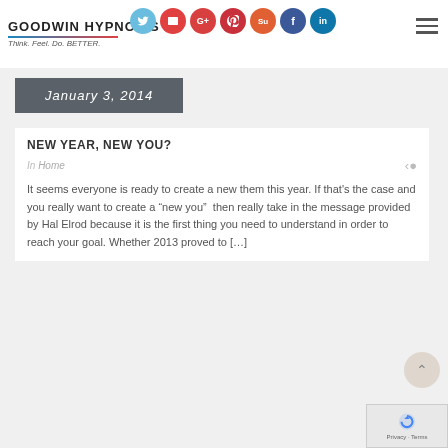GOODWIN HYPNOSIS — Think. Feel. Do. BETTER.
January 3, 2014
NEW YEAR, NEW YOU?
In Home
It seems everyone is ready to create a new them this year. If that's the case and you really want to create a "new you" then really take in the message provided by Hal Elrod because it is the first thing you need to understand in order to reach your goal. Whether 2013 proved to [...]